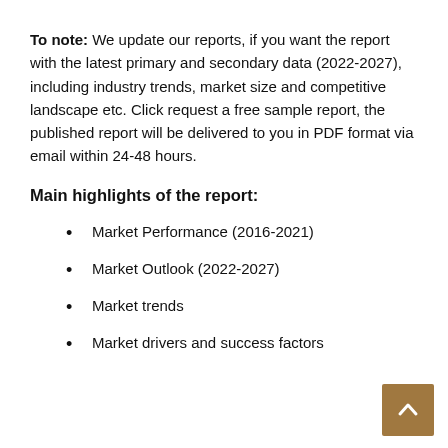To note: We update our reports, if you want the report with the latest primary and secondary data (2022-2027), including industry trends, market size and competitive landscape etc. Click request a free sample report, the published report will be delivered to you in PDF format via email within 24-48 hours.
Main highlights of the report:
Market Performance (2016-2021)
Market Outlook (2022-2027)
Market trends
Market drivers and success factors